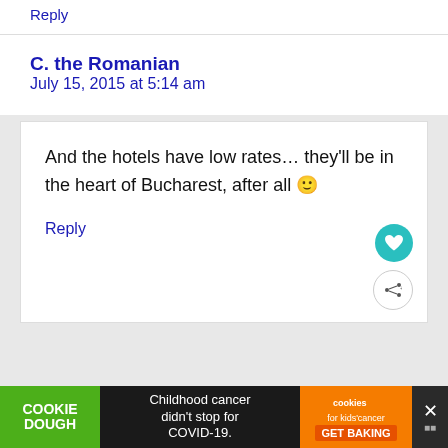Reply
C. the Romanian
July 15, 2015 at 5:14 am
And the hotels have low rates… they'll be in the heart of Bucharest, after all 🙂
Reply
[Figure (screenshot): Advertisement banner: Cookie Dough - Childhood cancer didn't stop for COVID-19. Cookies for kids cancer GET BAKING.]